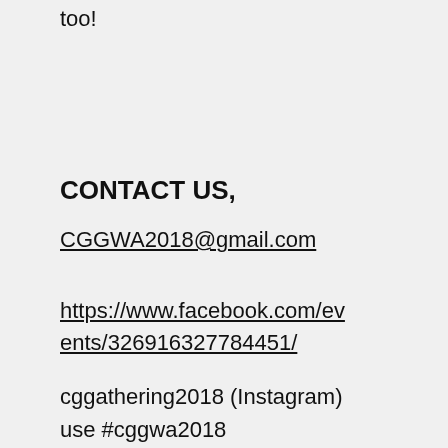too!
CONTACT US,
CGGWA2018@gmail.com
https://www.facebook.com/events/326916327784451/
cggathering2018 (Instagram)
use #cggwa2018